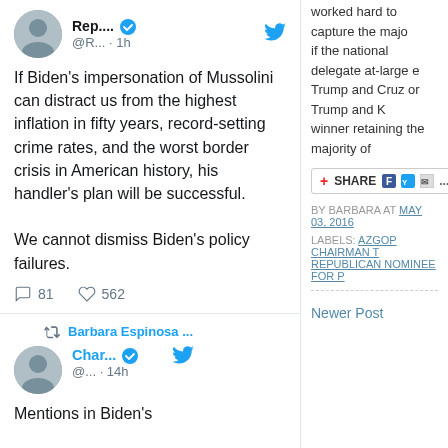If Biden's impersonation of Mussolini can distract us from the highest inflation in fifty years, record-setting crime rates, and the worst border crisis in American history, his handler's plan will be successful.

We cannot dismiss Biden's policy failures.
81  562
Barbara Espinosa ...
Char... @... · 14h
Mentions in Biden's
worked hard to capture the major if the national delegate at-large e Trump and Cruz or Trump and K winner retaining the majority of
SHARE
BY BARBARA AT MAY 03, 2016
LABELS: AZGOP CHAIRMAN T REPUBLICAN NOMINEE FOR P
Newer Post